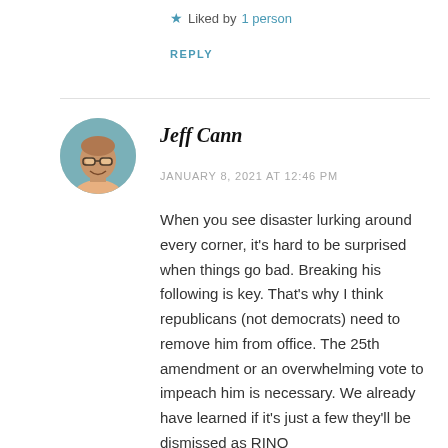★ Liked by 1 person
REPLY
Jeff Cann
JANUARY 8, 2021 AT 12:46 PM
When you see disaster lurking around every corner, it's hard to be surprised when things go bad. Breaking his following is key. That's why I think republicans (not democrats) need to remove him from office. The 25th amendment or an overwhelming vote to impeach him is necessary. We already have learned if it's just a few they'll be dismissed as RINO